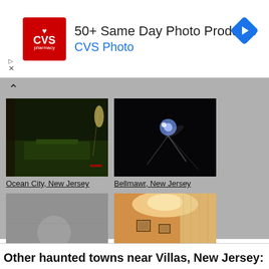[Figure (other): CVS Pharmacy advertisement banner: '50+ Same Day Photo Products / CVS Photo' with CVS logo and blue diamond arrow icon]
[Figure (photo): Dark nighttime photo of a miniature golf course with green felt, Ocean City, New Jersey]
Ocean City, New Jersey
[Figure (photo): Dark photo with a blue orb/light lens flare in night sky, Bellmawr, New Jersey]
Bellmawr, New Jersey
[Figure (photo): Gray wall interior photo, Medford, New Jersey]
Medford, New Jersey
[Figure (photo): Warm-toned interior room with chandelier lighting and curtains, Salem, New Jersey]
Salem, New Jersey
Other haunted towns near Villas, New Jersey: